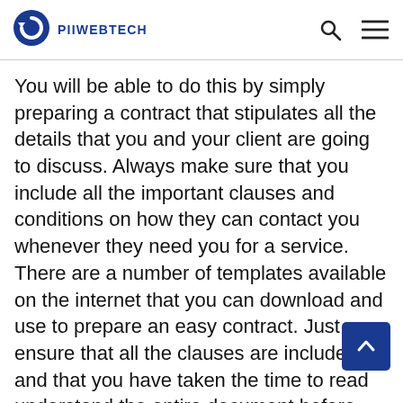PIIWEBTECH
You will be able to do this by simply preparing a contract that stipulates all the details that you and your client are going to discuss. Always make sure that you include all the important clauses and conditions on how they can contact you whenever they need you for a service. There are a number of templates available on the internet that you can download and use to prepare an easy contract. Just ensure that all the clauses are included and that you have taken the time to read understand the entire document before signing.